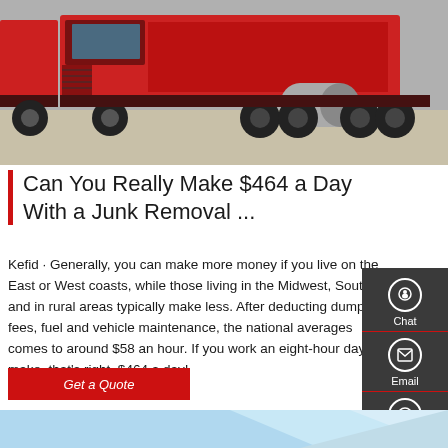[Figure (photo): Photo of large red semi trucks/tractor units parked on a concrete yard, seen from the side, showing wheels, axles, and fuel tanks.]
Can You Really Make $464 a Day With a Junk Removal ...
Kefid · Generally, you can make more money if you live on the East or West coasts, while those living in the Midwest, South, and in rural areas typically make less. After deducting dump fees, fuel and vehicle maintenance, the national averages comes to around $58 an hour. If you work an eight-hour day, you make, that's right, $464 a day!
Get a Quote
[Figure (other): Bottom blue banner/footer area with light blue and aqua gradient, partially visible.]